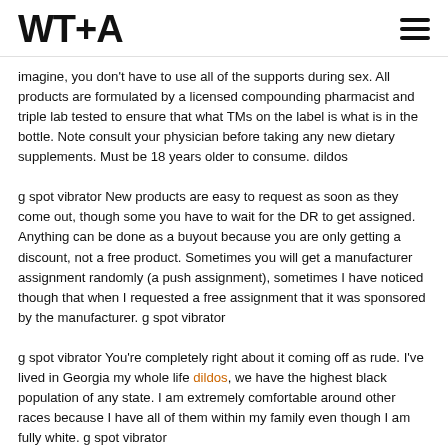WT+A
imagine, you don't have to use all of the supports during sex. All products are formulated by a licensed compounding pharmacist and triple lab tested to ensure that what TMs on the label is what is in the bottle. Note consult your physician before taking any new dietary supplements. Must be 18 years older to consume. dildos
g spot vibrator New products are easy to request as soon as they come out, though some you have to wait for the DR to get assigned. Anything can be done as a buyout because you are only getting a discount, not a free product. Sometimes you will get a manufacturer assignment randomly (a push assignment), sometimes I have noticed though that when I requested a free assignment that it was sponsored by the manufacturer. g spot vibrator
g spot vibrator You're completely right about it coming off as rude. I've lived in Georgia my whole life dildos, we have the highest black population of any state. I am extremely comfortable around other races because I have all of them within my family even though I am fully white. g spot vibrator
wholesale vibrators It also brought back its Timeline feature after multiple